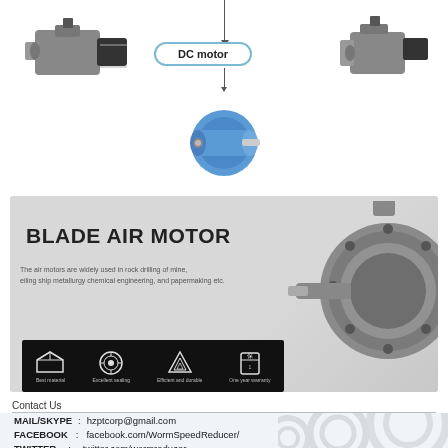[Figure (illustration): DC motor diagram with three motor images (two worm gear motors on sides, one cylindrical DC motor below) connected by lines to a central label 'DC motor']
[Figure (photo): Blade air motor product banner on grey background showing a metal cylindrical air motor, title 'BLADE AIR MOTOR', descriptive text about applications, and four icon badges for Best material, Excellent sealing, Efficient and durable, One year warranty]
Contact Us
MAIL/SKYPE : hzptcorp@gmail.com
FACEBOOK : facebook.com/WormSpeedReducer/
TWITTER : twitter.com/wormreducer
WECHAT/WHATSAPP : +86 13083988828